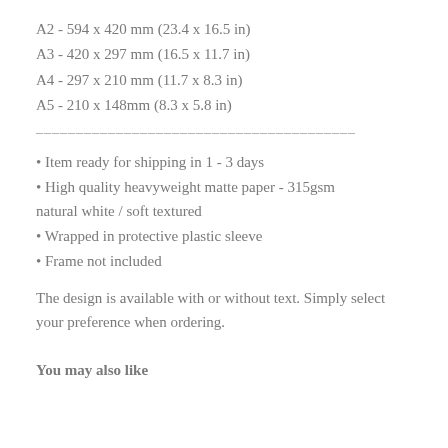A2 - 594 x 420 mm (23.4 x 16.5 in)
A3 - 420 x 297 mm (16.5 x 11.7 in)
A4 - 297 x 210 mm (11.7 x 8.3 in)
A5 - 210 x 148mm (8.3 x 5.8 in)
——————————————————————————
• Item ready for shipping in 1 - 3 days
• High quality heavyweight matte paper - 315gsm natural white / soft textured
• Wrapped in protective plastic sleeve
• Frame not included
The design is available with or without text. Simply select your preference when ordering.
You may also like